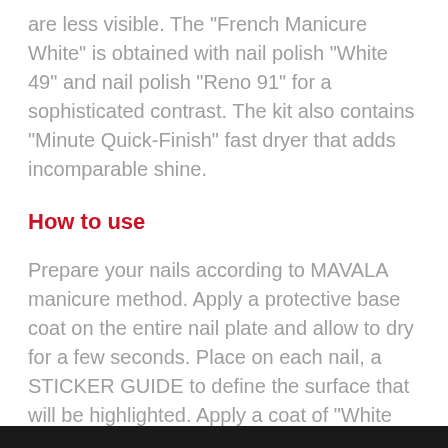are less visible. The "French Manicure White" is obtained with nail polish "White 49" and nail polish "Reno 91" for a sophisticated contrast. The kit also contains "Minute Quick-Finish" fast dryer that adds incomparable shine.
How to use
Prepare your nails according to MAVALA manicure method. Apply a protective base coat on the entire nail plate and allow to dry for a few seconds. Place on each nail, a STICKER GUIDE to define the surface that will be highlighted. Apply a coat of "White 49" on the free edge of the nail, with short vertical strokes or with one horizontal movement, following the curve of the nail. Remove the Sticker